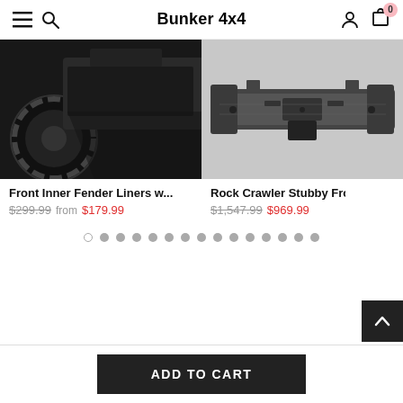Bunker 4x4
[Figure (photo): Left product photo: close-up of vehicle front inner fender liner area with black wheel/tire visible]
[Figure (photo): Right product photo: close-up of rock crawler stubby front bumper, black steel, shown from front/angle]
Front Inner Fender Liners w...
$299.99  from  $179.99
Rock Crawler Stubby Front
$1,547.99  $969.99
ADD TO CART